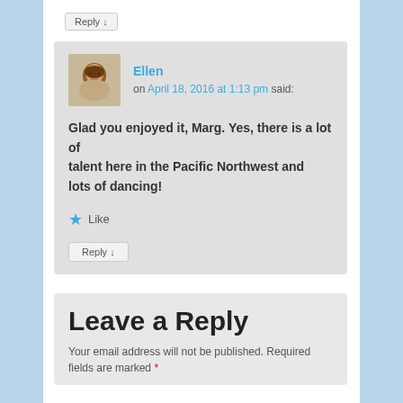Reply ↓
Ellen on April 18, 2016 at 1:13 pm said:
Glad you enjoyed it, Marg. Yes, there is a lot of talent here in the Pacific Northwest and lots of dancing!
★ Like
Reply ↓
Leave a Reply
Your email address will not be published. Required fields are marked *